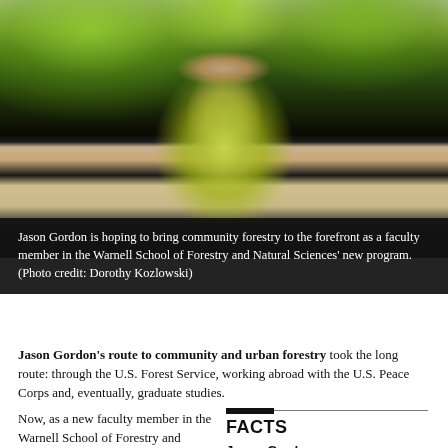[Figure (photo): Jason Gordon standing outdoors wearing a yellow/green high-visibility vest and holding a white hard hat, with green trees in the background]
Jason Gordon is hoping to bring community forestry to the forefront as a faculty member in the Warnell School of Forestry and Natural Sciences' new program. (Photo credit: Dorothy Kozlowski)
Jason Gordon's route to community and urban forestry took the long route: through the U.S. Forest Service, working abroad with the U.S. Peace Corps and, eventually, graduate studies.
Now, as a new faculty member in the Warnell School of Forestry and Natural Resources, he's helping to create a more
FACTS
Jason Gordon
Assistant Professor, Community Forestry
Certified Arborist and Tree-risk Assessment